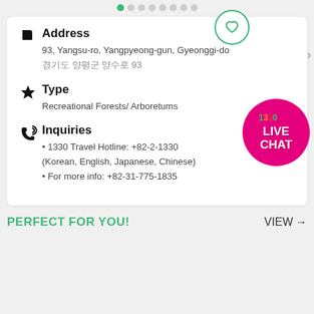[Figure (infographic): Pagination dots row at top, first dot is green (active), rest are grey]
Address
93, Yangsu-ro, Yangpyeong-gun, Gyeonggi-do
경기도 양평군 양수로 93
Type
Recreational Forests/ Arboretums
Inquiries
1330 Travel Hotline: +82-2-1330
(Korean, English, Japanese, Chinese)
For more info: +82-31-775-1835
[Figure (infographic): Pink circular 1330 Live Chat button with heart circle overlay]
PERFECT FOR YOU!
VIEW →